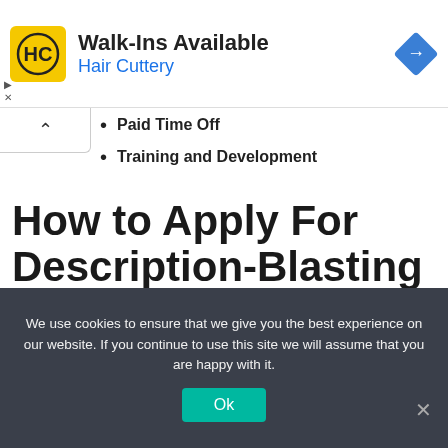[Figure (screenshot): Hair Cuttery advertisement banner with yellow HC logo, 'Walk-Ins Available' headline, 'Hair Cuttery' in blue, and a blue diamond direction icon.]
Paid Time Off
Training and Development
How to Apply For Description-Blasting Helper/Explosive handler In Dangate Group
We use cookies to ensure that we give you the best experience on our website. If you continue to use this site we will assume that you are happy with it.